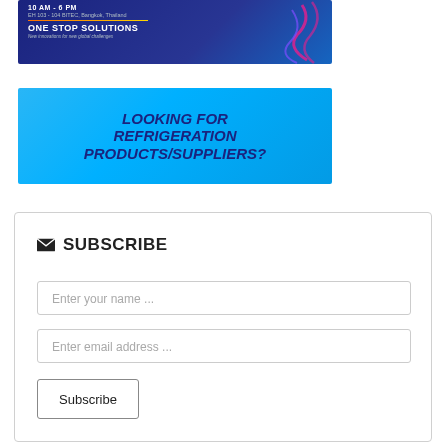[Figure (illustration): Dark blue event banner showing time '10 AM - 6 PM', location 'EH 103 - 104 BITEC, Bangkok, Thailand', tagline 'ONE STOP SOLUTIONS - New innovations for new global challenges' with decorative wave graphic on the right]
[Figure (illustration): Cyan/blue banner with bold dark blue italic text reading 'LOOKING FOR REFRIGERATION PRODUCTS/SUPPLIERS?']
SUBSCRIBE
Enter your name ...
Enter email address ...
Subscribe